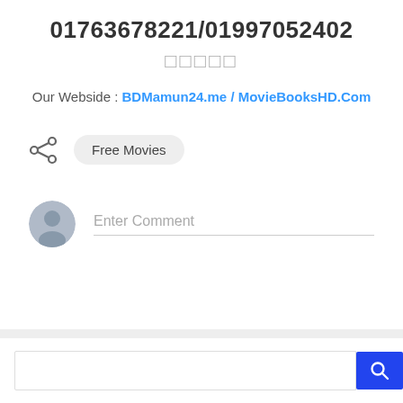01763678221/01997052402
□□□□□
Our Webside : BDMamun24.me / MovieBooksHD.Com
Free Movies
Enter Comment